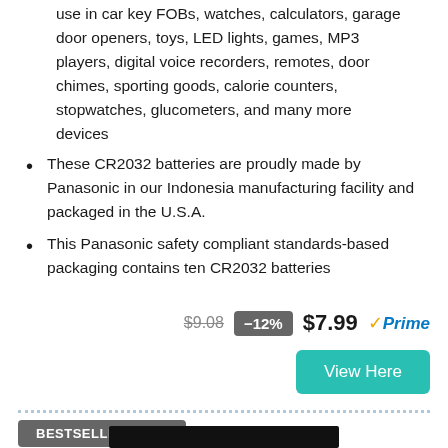use in car key FOBs, watches, calculators, garage door openers, toys, LED lights, games, MP3 players, digital voice recorders, remotes, door chimes, sporting goods, calorie counters, stopwatches, glucometers, and many more devices
These CR2032 batteries are proudly made by Panasonic in our Indonesia manufacturing facility and packaged in the U.S.A.
This Panasonic safety compliant standards-based packaging contains ten CR2032 batteries
$9.08  -12%  $7.99  Prime  View Here
BESTSELLER NO. 8